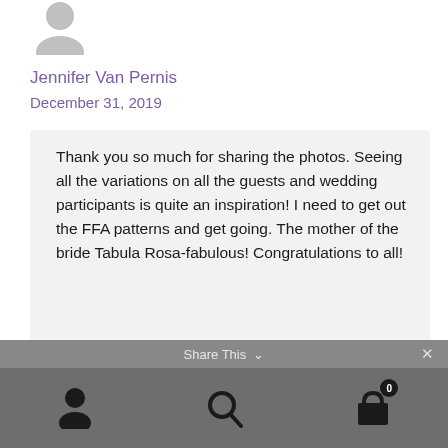[Figure (illustration): Grey silhouette avatar / profile placeholder icon]
Jennifer Van Pernis
December 31, 2019
Thank you so much for sharing the photos. Seeing all the variations on all the guests and wedding participants is quite an inspiration! I need to get out the FFA patterns and get going. The mother of the bride Tabula Rosa-fabulous! Congratulations to all!
Share This